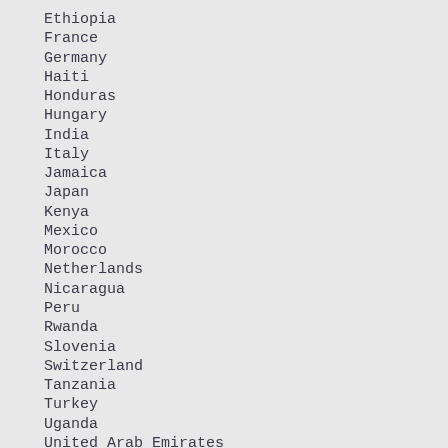Ethiopia
France
Germany
Haiti
Honduras
Hungary
India
Italy
Jamaica
Japan
Kenya
Mexico
Morocco
Netherlands
Nicaragua
Peru
Rwanda
Slovenia
Switzerland
Tanzania
Turkey
Uganda
United Arab Emirates
United Kingdom